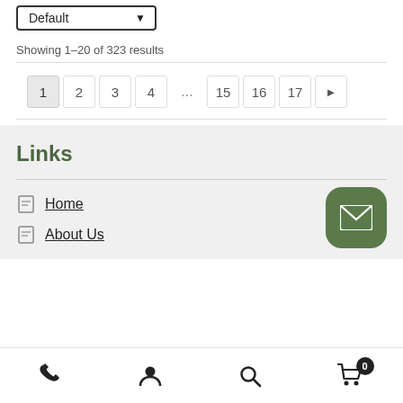Default (dropdown)
Showing 1–20 of 323 results
Pagination: 1 2 3 4 ... 15 16 17 ►
Links
Home
About Us
Phone | User | Search | Cart (0)